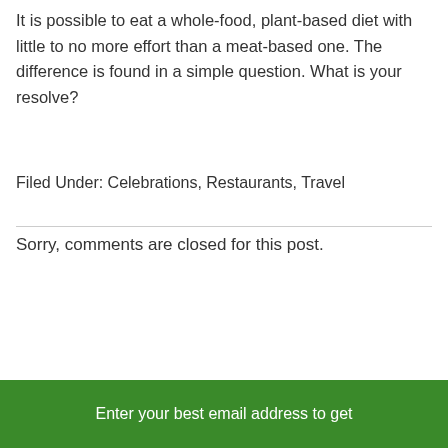It is possible to eat a whole-food, plant-based diet with little to no more effort than a meat-based one. The difference is found in a simple question. What is your resolve?
Filed Under: Celebrations, Restaurants, Travel
Sorry, comments are closed for this post.
Enter your best email address to get